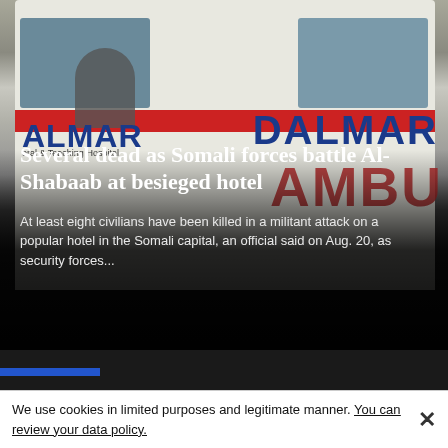[Figure (photo): Dalmar ambulance vehicle exterior showing red stripe, DALMAR branding in blue, AMBULANCE text in red, and a person visible through the window]
Several dead as Somali forces battle Al-Shabaab at besieged hotel
At least eight civilians have been killed in a militant attack on a popular hotel in the Somali capital, an official said on Aug. 20, as security forces...
We use cookies in limited purposes and legitimate manner. You can review your data policy.